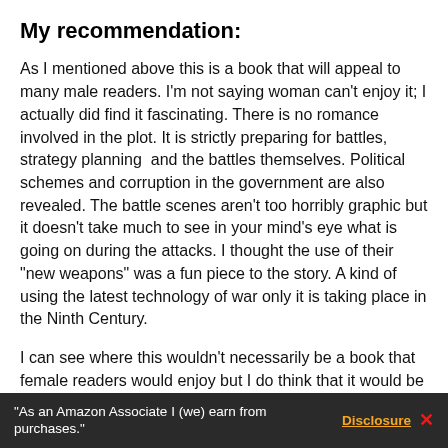My recommendation:
As I mentioned above this is a book that will appeal to many male readers. I'm not saying woman can't enjoy it; I actually did find it fascinating. There is no romance involved in the plot. It is strictly preparing for battles, strategy planning  and the battles themselves. Political schemes and corruption in the government are also revealed. The battle scenes aren't too horribly graphic but it doesn't take much to see in your mind's eye what is going on during the attacks. I thought the use of their "new weapons" was a fun piece to the story. A kind of using the latest technology of war only it is taking place in the Ninth Century.
I can see where this wouldn't necessarily be a book that female readers would enjoy but I do think that it would be a very nice gift for your spouse or son to have to read. They are going to enjoy the regimen of the soldiers, the preparing for attacks and the way the men interact with each other. Actually, I enjoyed it quite a lot. It was refreshing to read some...
"As an Amazon Associate I (we) earn from purchases." Disclosure ✕